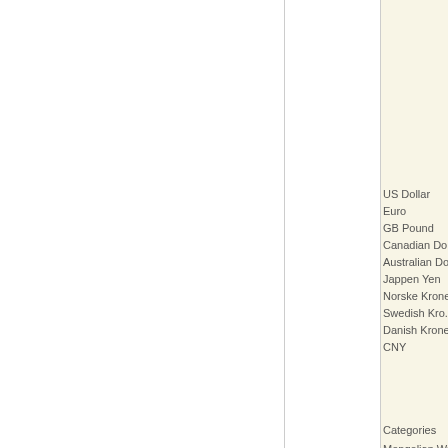US Dollar
Euro
GB Pound
Canadian Do...
Australian Do...
Jappen Yen
Norske Krone...
Swedish Kro...
Danish Krone...
CNY
Categories
Mongolian Wr...